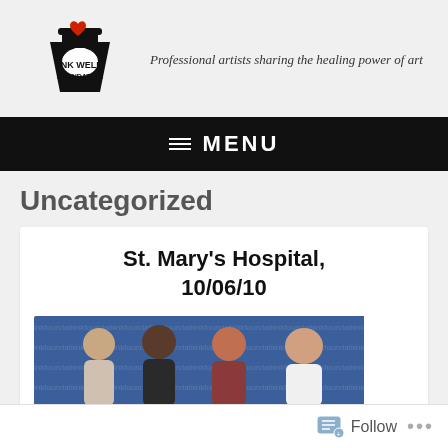[Figure (logo): Ink Well Foundation logo — black ink pot with red heart on top, white text 'INK WELL FOUNDATION', tagline 'Professional artists sharing the healing power of art']
≡ MENU
Uncategorized
St. Mary's Hospital, 10/06/10
[Figure (photo): Group photo of four people (three women and one man) standing in front of a blue banner backdrop]
Follow •••